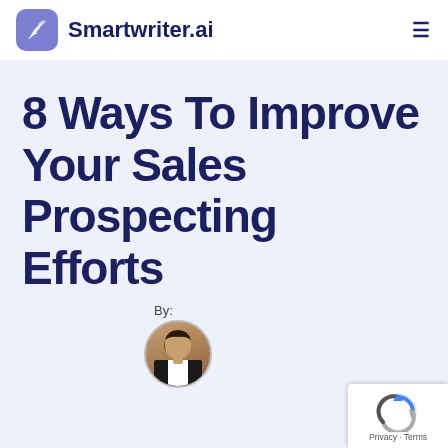[Figure (logo): Smartwriter.ai logo with feather icon and brand name]
8 Ways To Improve Your Sales Prospecting Efforts
[Figure (photo): Author avatar circular photo of a woman]
[Figure (logo): Google reCAPTCHA badge with Privacy - Terms text]